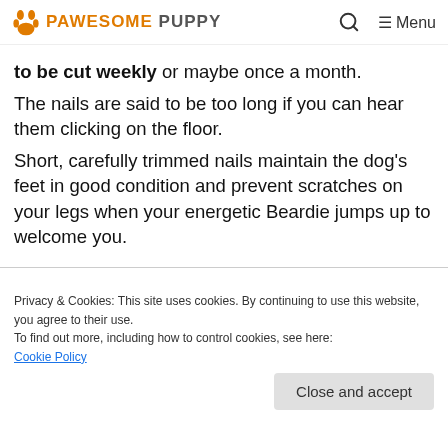PAWESOME PUPPY — Menu
to be cut weekly or maybe once a month.
The nails are said to be too long if you can hear them clicking on the floor.
Short, carefully trimmed nails maintain the dog's feet in good condition and prevent scratches on your legs when your energetic Beardie jumps up to welcome you.
Privacy & Cookies: This site uses cookies. By continuing to use this website, you agree to their use.
To find out more, including how to control cookies, see here:
Cookie Policy
Close and accept
lips and ears.